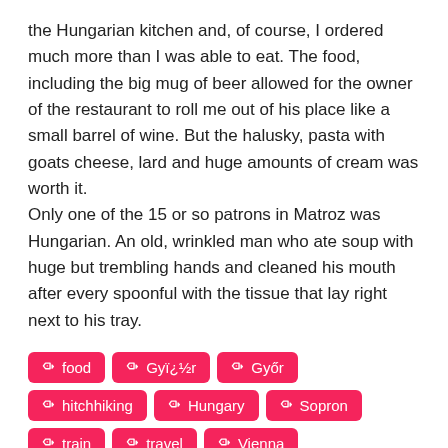the Hungarian kitchen and, of course, I ordered much more than I was able to eat. The food, including the big mug of beer allowed for the owner of the restaurant to roll me out of his place like a small barrel of wine. But the halusky, pasta with goats cheese, lard and huge amounts of cream was worth it.
Only one of the 15 or so patrons in Matroz was Hungarian. An old, wrinkled man who ate soup with huge but trembling hands and cleaned his mouth after every spoonful with the tissue that lay right next to his tray.
food
Gyï¿½r
Győr
hitchhiking
Hungary
Sopron
train
travel
Vienna
This text is available under a cc-nc-a license.
Previous: